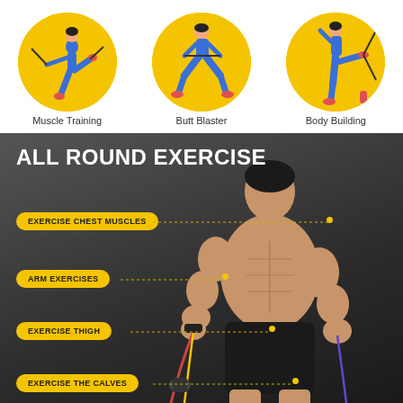[Figure (illustration): Three circular yellow badges showing exercise demonstrations: Muscle Training (woman with resistance band doing leg kick), Butt Blaster (woman squatting), Body Building (woman doing lateral leg raise with band). White background top section.]
Muscle Training
Butt Blaster
Body Building
[Figure (photo): Muscular shirtless man on dark grey background using resistance bands. Four yellow pill-shaped labels on left side: EXERCISE CHEST MUSCLES, ARM EXERCISES, EXERCISE THIGH, EXERCISE THE CALVES, each connected by a dotted line to corresponding body part.]
ALL ROUND EXERCISE
EXERCISE CHEST MUSCLES
ARM EXERCISES
EXERCISE THIGH
EXERCISE THE CALVES